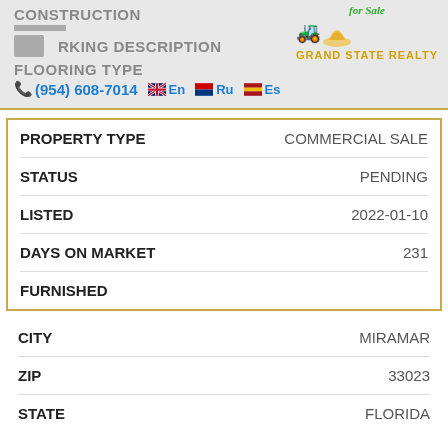CONSTRUCTION
PARKING DESCRIPTION
[Figure (logo): Grand State Realty logo with forklift icon and 'for Sale' text]
FLOORING TYPE
(954) 608-7014  En  Ru  Es
| Field | Value |
| --- | --- |
| PROPERTY TYPE | COMMERCIAL SALE |
| STATUS | PENDING |
| LISTED | 2022-01-10 |
| DAYS ON MARKET | 231 |
| FURNISHED |  |
| Field | Value |
| --- | --- |
| CITY | MIRAMAR |
| ZIP | 33023 |
| STATE | FLORIDA |